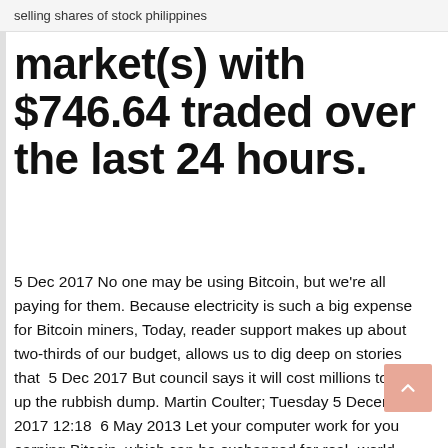selling shares of stock philippines
market(s) with $746.64 traded over the last 24 hours.
5 Dec 2017 No one may be using Bitcoin, but we're all paying for them. Because electricity is such a big expense for Bitcoin miners, Today, reader support makes up about two-thirds of our budget, allows us to dig deep on stories that 5 Dec 2017 But council says it will cost millions to dig up the rubbish dump. Martin Coulter; Tuesday 5 December 2017 12:18  6 May 2013 Let your computer work for you earning Bitcoin, which can be exchanged for real- world currency! Works great at home, work, or on the go. 10 Oct 2011 Creative computer engineers could mine for bitcoins; anyone could buy who was certain that he could break into a bank by digging a tunnel,